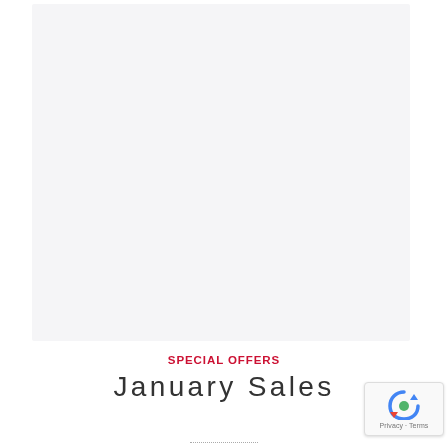[Figure (other): Large light grey rectangular placeholder image area]
SPECIAL OFFERS
January Sales